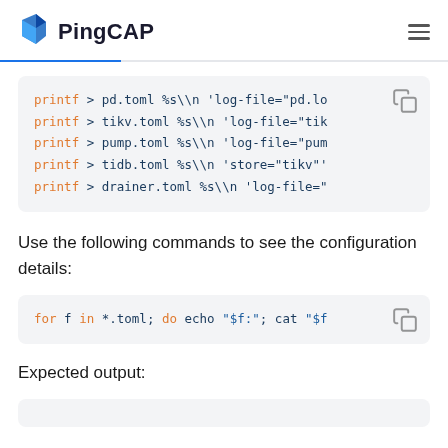PingCAP
[Figure (screenshot): Code block showing printf commands writing to pd.toml, tikv.toml, pump.toml, tidb.toml, and drainer.toml]
Use the following commands to see the configuration details:
[Figure (screenshot): Code block: for f in *.toml; do echo "$f:"; cat "$f]
Expected output: